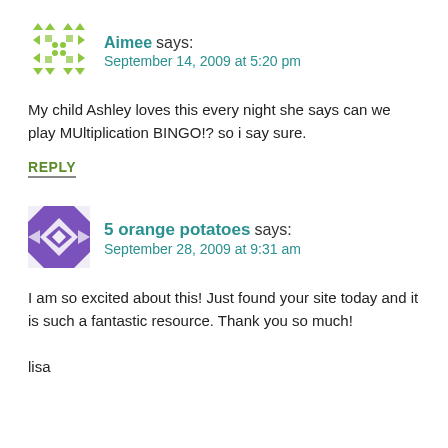[Figure (illustration): Green geometric avatar icon for user Aimee, made of triangles and dots arranged in a square pattern]
Aimee says:
September 14, 2009 at 5:20 pm
My child Ashley loves this every night she says can we play MUltiplication BINGO!? so i say sure.
REPLY
[Figure (illustration): Purple geometric avatar icon for user 5 orange potatoes, made of diamond and triangle patterns]
5 orange potatoes says:
September 28, 2009 at 9:31 am
I am so excited about this! Just found your site today and it is such a fantastic resource. Thank you so much!

lisa